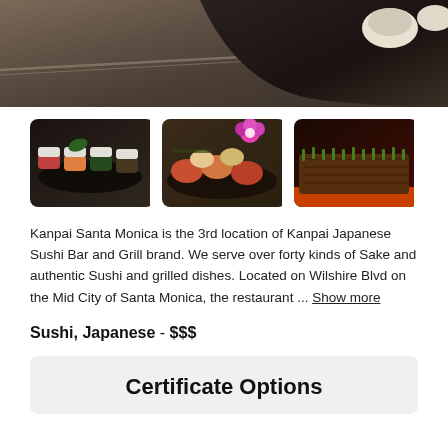[Figure (photo): Close-up photo of sushi on a dark plate on a stone/granite counter surface]
[Figure (photo): Three food photos side by side: sushi pieces on dark tray, assorted sushi with flower garnish, grilled meat with green onions]
Kanpai Santa Monica is the 3rd location of Kanpai Japanese Sushi Bar and Grill brand. We serve over forty kinds of Sake and authentic Sushi and grilled dishes. Located on Wilshire Blvd on the Mid City of Santa Monica, the restaurant ... Show more
Sushi, Japanese  -  $$$
Certificate Options